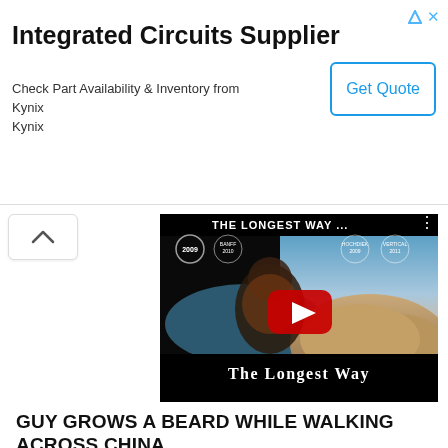[Figure (screenshot): Advertisement banner for Integrated Circuits Supplier (Kynix) with 'Get Quote' button and ad icons in top right]
[Figure (screenshot): YouTube video thumbnail for 'The Longest Way' documentary showing a bearded man in front of sand dunes with a YouTube play button in center and film festival laurel logos (2009, 2010, 2009, 2011) at top]
GUY GROWS A BEARD WHILE WALKING ACROSS CHINA
OCTOBER 27, 2017 / 8828 VIEWS
This is such a great idea and well put together video. When I travel for longer period of times I tend to always start freshly shaved and then grow out my...